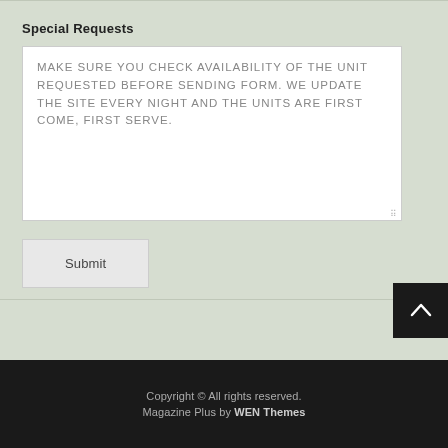Special Requests
MAKE SURE YOU CHECK AVAILABILITY OF THE UNIT REQUESTED BEFORE SENDING FORM. WE UPDATE THE SITE EVERY NIGHT AND THE UNITS ARE FIRST COME, FIRST SERVE.
Submit
Copyright © All rights reserved. Magazine Plus by WEN Themes